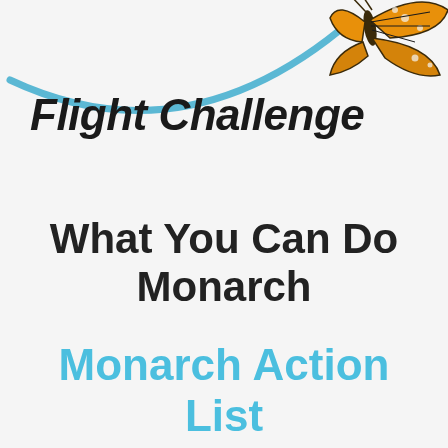[Figure (logo): Monarch Flight Challenge logo with a blue swooping arc line, a monarch butterfly illustration in upper right, and italic bold text reading 'Flight Challenge' below the arc]
What You Can Do Monarch
Monarch Action List